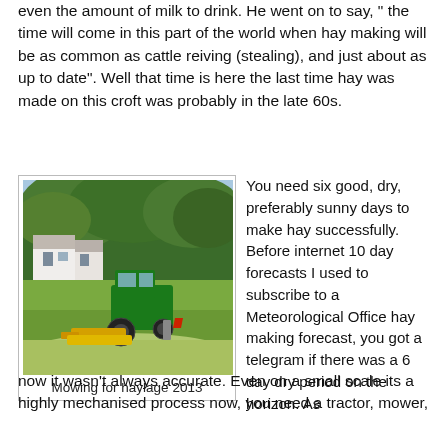even the amount of milk to drink. He went on to say, " the time will come in this part of the world when hay making will be as common as cattle reiving (stealing), and just about as up to date". Well that time is here the last time hay was made on this croft was probably in the late 60s.
[Figure (photo): A green tractor mowing a grass field with a red mowing attachment, with a white house and large trees in the background.]
Mowing for haylage 2013
You need six good, dry, preferably sunny days to make hay successfully. Before internet 10 day forecasts I used to subscribe to a Meteorological Office hay making forecast, you got a telegram if there was a 6 day dry period on the horizon. As now it wasn't always accurate. Even on a small scale its a highly mechanised process now, you need a tractor, mower,